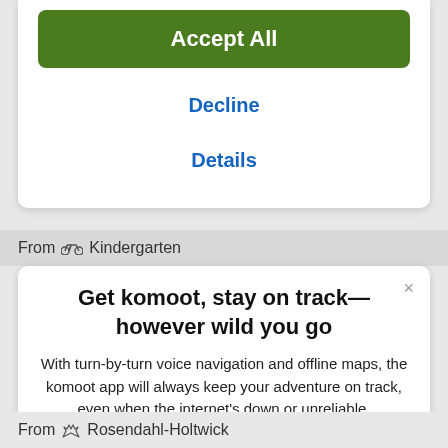[Figure (screenshot): Green 'Accept All' button in a cookie consent modal]
Decline
Details
From Kindergarten
Get komoot, stay on track—however wild you go
With turn-by-turn voice navigation and offline maps, the komoot app will always keep your adventure on track, even when the internet's down or unreliable.
[Figure (screenshot): Download on the App Store button]
From Rosendahl-Holtwick